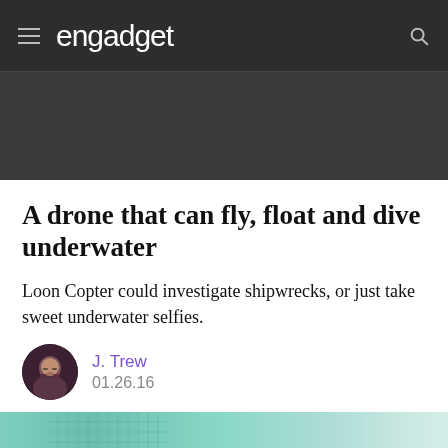engadget
A drone that can fly, float and dive underwater
Loon Copter could investigate shipwrecks, or just take sweet underwater selfies.
J. Trew
01.26.16
[Figure (photo): Partial image of LoonCopter drone on water surface, teal/aqua colored water background]